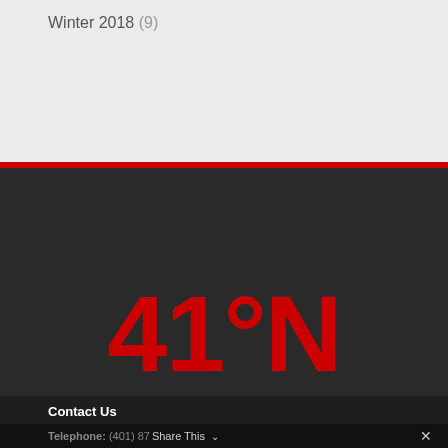Winter 2018 (9)
[Figure (logo): 41°N large red text logo on dark charcoal background]
Contact Us
Telephone: (401) 87  Share This ∨  ✕